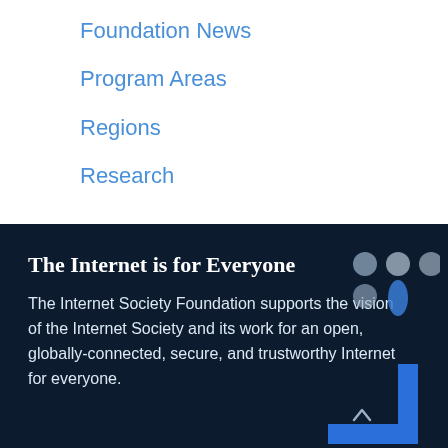Foundation News
Program Areas
Regions
Research
The Internet is for Everyone
The Internet Society Foundation supports the vision of the Internet Society and its work for an open, globally-connected, secure, and trustworthy Internet for everyone.